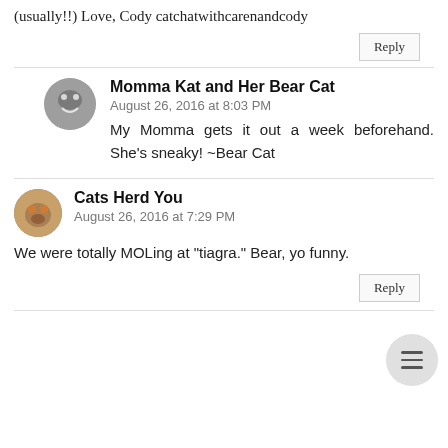(usually!!) Love, Cody catchatwithcarenandcody
Reply
Momma Kat and Her Bear Cat
August 26, 2016 at 8:03 PM
My Momma gets it out a week beforehand. She's sneaky! ~Bear Cat
Cats Herd You
August 26, 2016 at 7:29 PM
We were totally MOLing at "tiagra." Bear, yo funny.
Reply